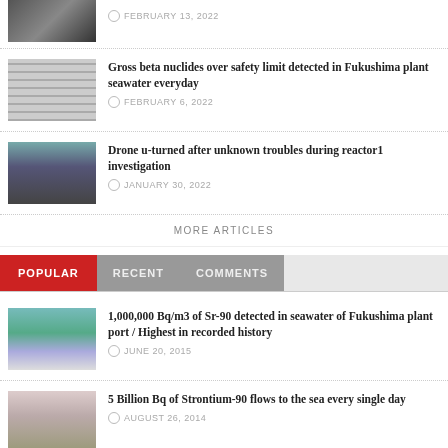[Figure (photo): Thumbnail image at top, partial view]
FEBRUARY 13, 2022
[Figure (photo): Thumbnail of Fukushima plant seawater area with grid structures]
Gross beta nuclides over safety limit detected in Fukushima plant seawater everyday
FEBRUARY 6, 2022
[Figure (photo): Thumbnail of bridge/reactor structure]
Drone u-turned after unknown troubles during reactor1 investigation
JANUARY 30, 2022
MORE ARTICLES
POPULAR  RECENT  COMMENTS
[Figure (photo): Thumbnail of sea/water at Fukushima plant port]
1,000,000 Bq/m3 of Sr-90 detected in seawater of Fukushima plant port / Highest in recorded history
JUNE 20, 2015
[Figure (photo): Thumbnail portrait of a person]
5 Billion Bq of Strontium-90 flows to the sea every single day
AUGUST 26, 2014